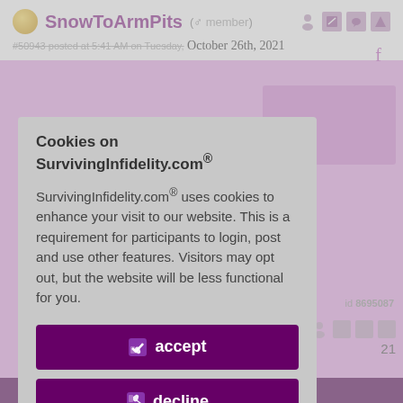SnowToArmPits (member) — posted at 5:41 AM on Tuesday, October 26th, 2021
Cookies on SurvivingInfidelity.com®
SurvivingInfidelity.com® uses cookies to enhance your visit to our website. This is a requirement for participants to login, post and use other features. Visitors may opt out, but the website will be less functional for you.
accept
decline
about cookies
id 8695087
Policy